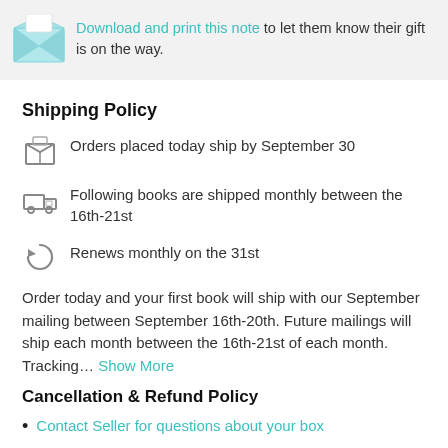[Figure (illustration): Envelope icon with a heart, representing a gift note download prompt]
Download and print this note to let them know their gift is on the way.
Shipping Policy
Orders placed today ship by September 30
Following books are shipped monthly between the 16th-21st
Renews monthly on the 31st
Order today and your first book will ship with our September mailing between September 16th-20th. Future mailings will ship each month between the 16th-21st of each month. Tracking... Show More
Cancellation & Refund Policy
Contact Seller for questions about your box
Subscriptions automatically renew. You can cancel at anytime.